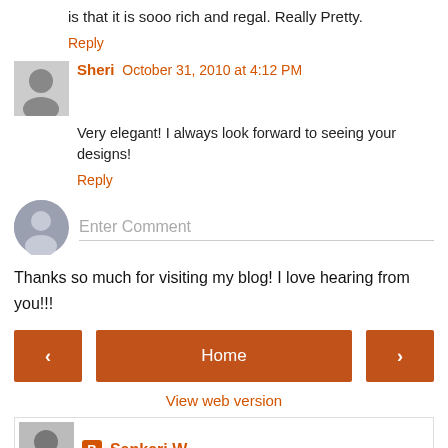is that it is sooo rich and regal. Really Pretty.
Reply
Sheri  October 31, 2010 at 4:12 PM
Very elegant! I always look forward to seeing your designs!
Reply
Enter Comment
Thanks so much for visiting my blog! I love hearing from you!!!
Home
View web version
Sankari W.